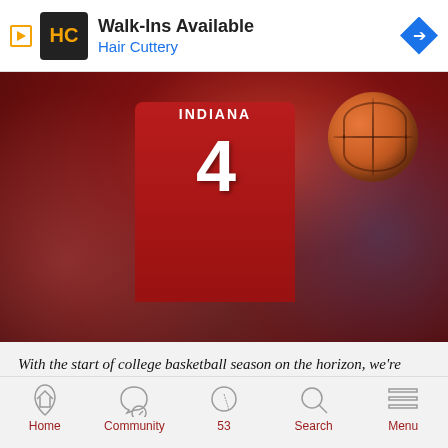[Figure (other): Advertisement banner for Hair Cuttery: Walk-Ins Available, with HC logo and navigation arrow]
[Figure (photo): Indiana University basketball player wearing red jersey number 4, holding a basketball, crowds in background]
With the start of college basketball season on the horizon, we're taking a long look at the conference at large as well as Indiana's roster this month. Today, we continue our look at Indiana's roster with Robert Johnson.
Robert Johnson enters his second season at Indiana as a player on the rise.
Home  Community  53  Search  Menu